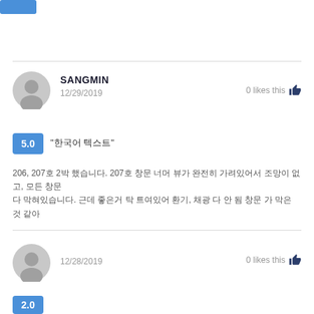[Figure (other): Partial blue button at top left corner]
SANGMIN
12/29/2019
0 likes this
5.0  "한국어 텍스트"
206, 207호 2박 했습니다. 207호 창문 너머 뷰가 완전히 가려있어서 조망이 없고, 모든 창문 다 막혀있습니다. 근데 좋은거 탁 트여있어 환기, 채광 다 안 됨 창문 가 막은 것 같아
12/28/2019
0 likes this
2.0